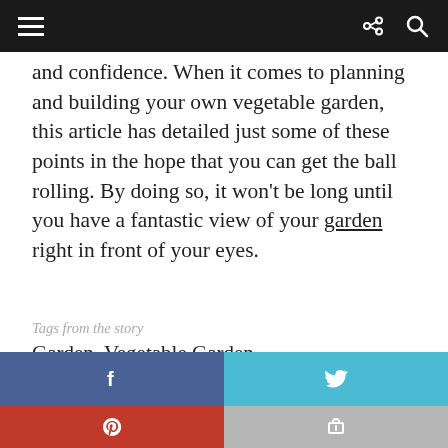[navigation bar with hamburger menu, share icon, search icon]
and confidence. When it comes to planning and building your own vegetable garden, this article has detailed just some of these points in the hope that you can get the ball rolling. By doing so, it won't be long until you have a fantastic view of your garden right in front of your eyes.
Tags from the story
Garden, Vegetable Garden
[Figure (other): Social share buttons: Facebook (blue), Twitter (cyan), Pinterest (red), and one more (gray)]